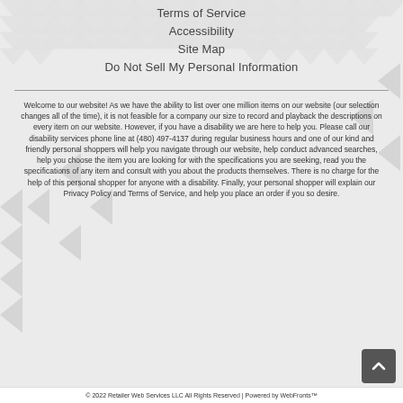Terms of Service
Accessibility
Site Map
Do Not Sell My Personal Information
Welcome to our website! As we have the ability to list over one million items on our website (our selection changes all of the time), it is not feasible for a company our size to record and playback the descriptions on every item on our website. However, if you have a disability we are here to help you. Please call our disability services phone line at (480) 497-4137 during regular business hours and one of our kind and friendly personal shoppers will help you navigate through our website, help conduct advanced searches, help you choose the item you are looking for with the specifications you are seeking, read you the specifications of any item and consult with you about the products themselves. There is no charge for the help of this personal shopper for anyone with a disability. Finally, your personal shopper will explain our Privacy Policy and Terms of Service, and help you place an order if you so desire.
© 2022 Retailer Web Services LLC All Rights Reserved | Powered by WebFronts™